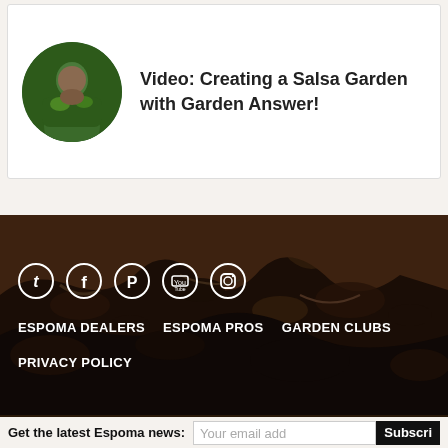[Figure (photo): Card with circular avatar photo of a person in a garden, next to bold text link about a salsa garden video]
Video: Creating a Salsa Garden with Garden Answer!
[Figure (photo): Dark soil/compost background image spanning the lower middle section of the page]
[Figure (infographic): Social media icons in circles: Twitter, Facebook, Pinterest, YouTube, Instagram]
ESPOMA DEALERS   ESPOMA PROS   GARDEN CLUBS
PRIVACY POLICY
Get the latest Espoma news:
Your email add
Subscri